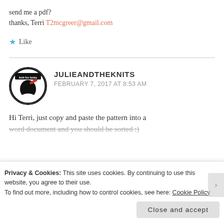send me a pdf?
thanks, Terri T2mcgreer@gmail.com
★ Like
[Figure (illustration): Circular avatar logo for julieandtheknits blog — black and white circular badge with a silhouette of a woman with a red bow and a banner across the top.]
JULIEANDTHEKNITS
FEBRUARY 7, 2017 AT 8:53 AM
Hi Terri, just copy and paste the pattern into a word document and you should be sorted :)
Privacy & Cookies: This site uses cookies. By continuing to use this website, you agree to their use.
To find out more, including how to control cookies, see here: Cookie Policy
Close and accept